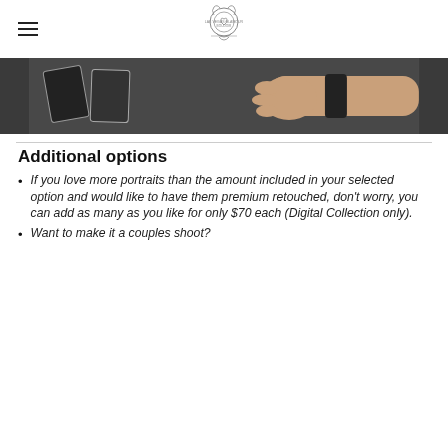Las Vegas Glamour Boudoir logo and hamburger menu
[Figure (photo): A photo strip showing a hand/arm over a dark surface with cards or objects, partially cropped at the top of the page content area.]
Additional options
If you love more portraits than the amount included in your selected option and would like to have them premium retouched, don't worry, you can add as many as you like for only $70 each (Digital Collection only).
Want to make it a couples shoot?